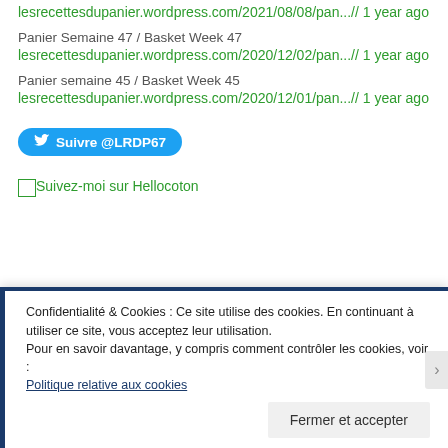lesrecettesdupanier.wordpress.com/2021/08/08/pan...// 1 year ago
Panier Semaine 47 / Basket Week 47
lesrecettesdupanier.wordpress.com/2020/12/02/pan...// 1 year ago
Panier semaine 45 / Basket Week 45
lesrecettesdupanier.wordpress.com/2020/12/01/pan...// 1 year ago
Suivre @LRDP67
[Figure (other): Suivez-moi sur Hellocoton link with broken image icon]
Confidentialité & Cookies : Ce site utilise des cookies. En continuant à utiliser ce site, vous acceptez leur utilisation. Pour en savoir davantage, y compris comment contrôler les cookies, voir : Politique relative aux cookies
Fermer et accepter